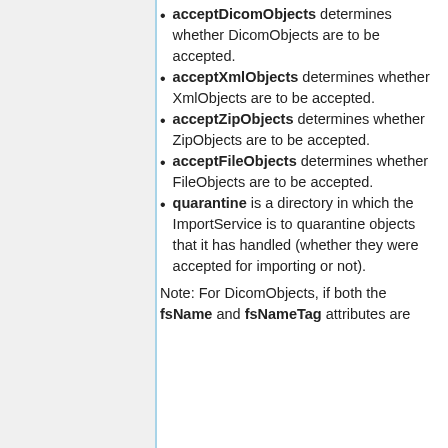acceptDicomObjects determines whether DicomObjects are to be accepted.
acceptXmlObjects determines whether XmlObjects are to be accepted.
acceptZipObjects determines whether ZipObjects are to be accepted.
acceptFileObjects determines whether FileObjects are to be accepted.
quarantine is a directory in which the ImportService is to quarantine objects that it has handled (whether they were accepted for importing or not).
Note: For DicomObjects, if both the fsName and fsNameTag attributes are